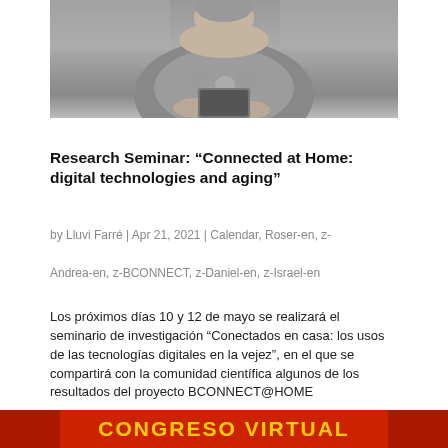[Figure (photo): Black and white photo of an elderly person holding a tablet or book, viewed from torso up]
Research Seminar: “Connected at Home: digital technologies and aging”
by Lluvi Farré | Apr 21, 2021 | Calendar, Roser-en, z-
Andrea-en, z-BCONNECT, z-Daniel-en, z-Israel-en
Los próximos días 10 y 12 de mayo se realizará el seminario de investigación “Conectados en casa: los usos de las tecnologías digitales en la vejez”, en el que se compartirá con la comunidad científica algunos de los resultados del proyecto BCONNECT@HOME
[Figure (other): Red banner with yellow bold text reading CONGRESO VIRTUAL]